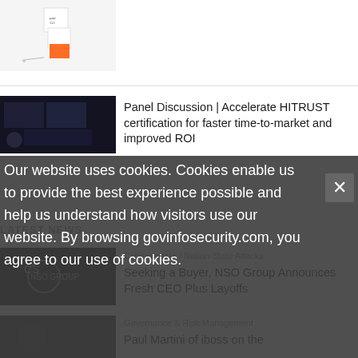[Figure (photo): Product photo showing white box/device with orange accent and small medical-looking items on white background]
[Figure (photo): Dark photo of a computer monitoring station with multiple screens showing data]
Panel Discussion | Accelerate HITRUST certification for faster time-to-market and improved ROI
LATEST NEWS
[Figure (photo): NSO Group logo on dark background]
Cyberwarfare / Nation-State Attacks
Seeking a Buyer, NSO Group Announces Fresh CEO Plus Layoffs
[Figure (photo): Dark photo of a person, governance topic]
Governance & Risk Management
Paul Martini of iboss on the
Our website uses cookies. Cookies enable us to provide the best experience possible and help us understand how visitors use our website. By browsing govinfosecurity.com, you agree to our use of cookies.